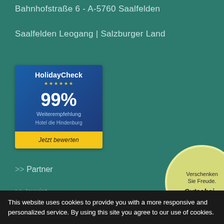Bahnhofstraße 6 - A-5760 Saalfelden
Saalfelden Leogang | Salzburger Land
[Figure (other): HolidayCheck widget showing 99% Weiterempfehlung (recommendation rate) for Hotel die Hindenburg, with star rating and 'Jetzt bewerten' (rate now) yellow button]
>> Partner
>> Imprint
[Figure (other): Circular voucher/gift badge with text 'Verschenken Sie Freude. Gutschei...' on a yellow-green background]
This website uses cookies to provide you with a more responsive and personalized service. By using this site you agree to our use of cookies.